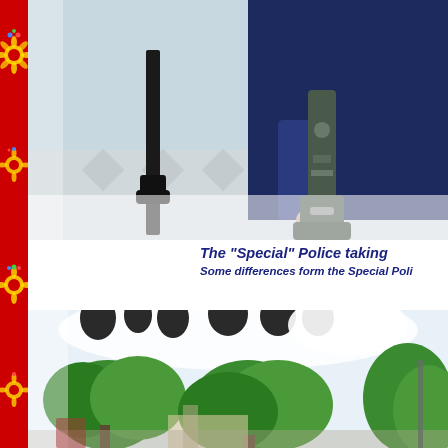[Figure (photo): Close-up photo of a police officer in dark uniform holding heavy equipment (appears to be a battering ram or similar tool) next to a pole on a street or plaza.]
The “Special” Police taking ... Some differences form the Special Poli...
[Figure (photo): Outdoor scene showing green trees and foliage, with what appears to be buildings and a street in the background. Decorative balloon-like dark shapes visible at the top.]